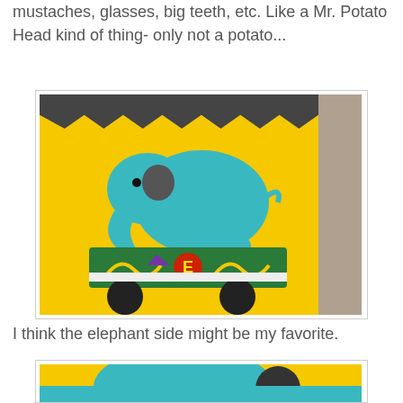mustaches, glasses, big teeth, etc. Like a Mr. Potato Head kind of thing- only not a potato...
[Figure (photo): A yellow box/container decorated with a teal/blue elephant on wheels (green cart with letter E), with dark wavy trim at top. Background shows a room interior.]
I think the elephant side might be my favorite.
[Figure (photo): Close-up of the elephant decoration on the yellow box, showing the teal elephant with a dark circular ear/eye, on a yellow background with teal curvy design at bottom.]